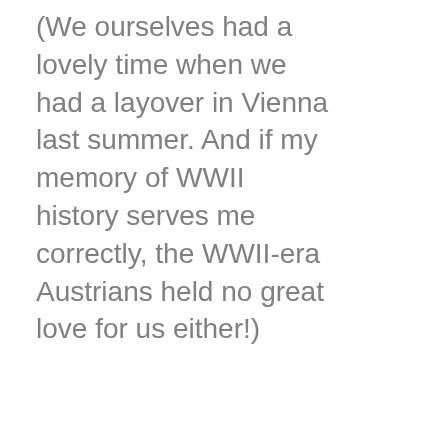(We ourselves had a lovely time when we had a layover in Vienna last summer. And if my memory of WWII history serves me correctly, the WWII-era Austrians held no great love for us either!)
But to spend money on souvenirs on a trip whose purpose is to witness the artifacts and scope of the most devastating anti-Semitism and mass murder the modern world has known.... I can not adequately